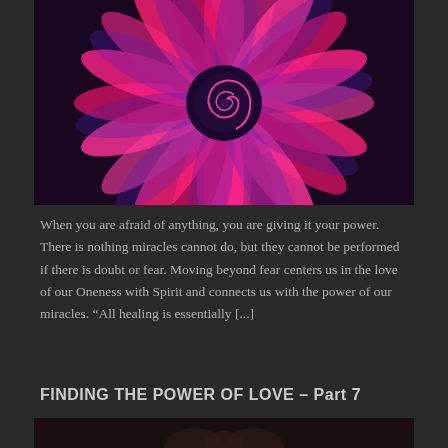[Figure (photo): Close-up macro photograph of a pink and purple daisy-like flower with a fractal spiral center, petals radiating outward with gradient from pink tips to purple/blue base, dark background]
When you are afraid of anything, you are giving it your power. There is nothing miracles cannot do, but they cannot be performed if there is doubt or fear. Moving beyond fear centers us in the love of our Oneness with Spirit and connects us with the power of our miracles. “All healing is essentially [...]
FINDING THE POWER OF LOVE – Part 7
[Figure (photo): Partial view of hands photograph at bottom of page, dark background]